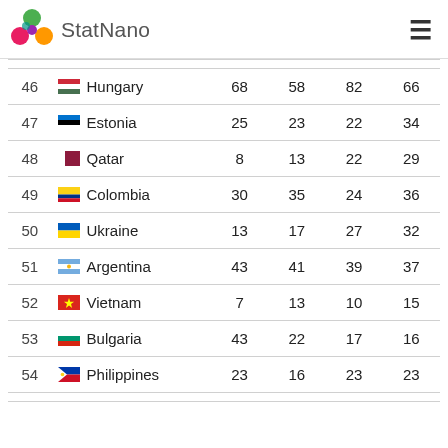StatNano
| # | Country |  |  |  |  |
| --- | --- | --- | --- | --- | --- |
| 46 | Hungary | 68 | 58 | 82 | 66 |
| 47 | Estonia | 25 | 23 | 22 | 34 |
| 48 | Qatar | 8 | 13 | 22 | 29 |
| 49 | Colombia | 30 | 35 | 24 | 36 |
| 50 | Ukraine | 13 | 17 | 27 | 32 |
| 51 | Argentina | 43 | 41 | 39 | 37 |
| 52 | Vietnam | 7 | 13 | 10 | 15 |
| 53 | Bulgaria | 43 | 22 | 17 | 16 |
| 54 | Philippines | 23 | 16 | 23 | 23 |